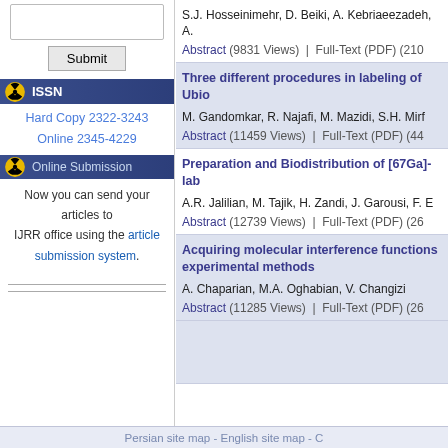Submit
ISSN
Hard Copy 2322-3243
Online 2345-4229
Online Submission
Now you can send your articles to IJRR office using the article submission system.
S.J. Hosseinimehr, D. Beiki, A. Kebriaeezadeh, A...
Abstract (9831 Views)  |  Full-Text (PDF) (210...
Three different procedures in labeling of Ubio...
M. Gandomkar, R. Najafi, M. Mazidi, S.H. Mirf...
Abstract (11459 Views)  |  Full-Text (PDF) (44...
Preparation and Biodistribution of [67Ga]-lab...
A.R. Jalilian, M. Tajik, H. Zandi, J. Garousi, F. E...
Abstract (12739 Views)  |  Full-Text (PDF) (26...
Acquiring molecular interference functions ... experimental methods
A. Chaparian, M.A. Oghabian, V. Changizi
Abstract (11285 Views)  |  Full-Text (PDF) (26...
Persian site map - English site map - C...